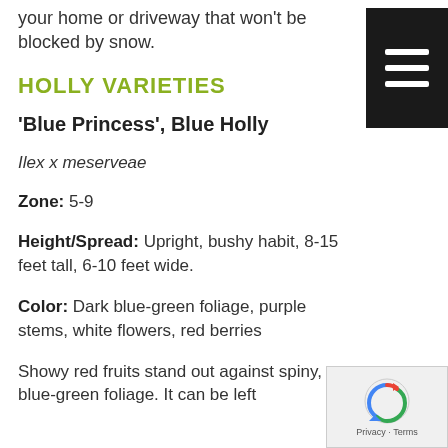your home or driveway that won't be blocked by snow.
HOLLY VARIETIES
'Blue Princess', Blue Holly
Ilex x meserveae
Zone: 5-9
Height/Spread: Upright, bushy habit, 8-15 feet tall, 6-10 feet wide.
Color: Dark blue-green foliage, purple stems, white flowers, red berries
Showy red fruits stand out against spiny, blue-green foliage. It can be left